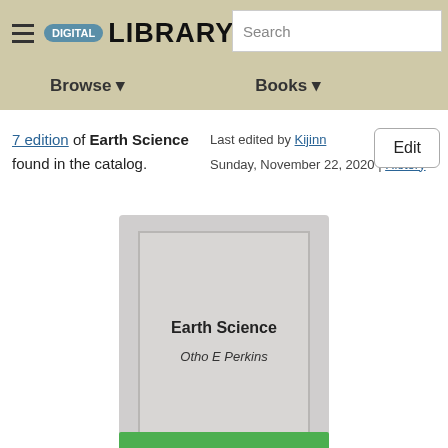DIGITAL LIBRARY | Search | Browse | Books
7 edition of Earth Science found in the catalog.
Last edited by Kijinn
Sunday, November 22, 2020 | History
Edit
[Figure (illustration): Book cover placeholder showing title 'Earth Science' and author 'Otho E Perkins' on a gray background]